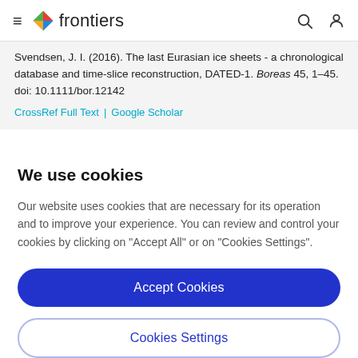frontiers
Svendsen, J. I. (2016). The last Eurasian ice sheets - a chronological database and time-slice reconstruction, DATED-1. Boreas 45, 1–45. doi: 10.1111/bor.12142
CrossRef Full Text | Google Scholar
We use cookies
Our website uses cookies that are necessary for its operation and to improve your experience. You can review and control your cookies by clicking on "Accept All" or on "Cookies Settings".
Accept Cookies
Cookies Settings